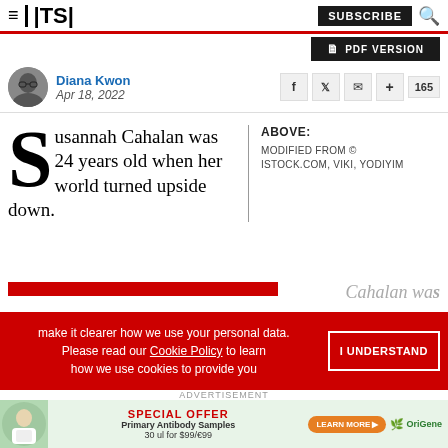TS | SUBSCRIBE
[Figure (other): PDF VERSION button]
[Figure (photo): Author avatar photo of Diana Kwon]
Diana Kwon
Apr 18, 2022
[Figure (other): Social media icons: Facebook, Twitter, email, plus, 165]
Susannah Cahalan was 24 years old when her world turned upside down.
ABOVE:
MODIFIED FROM © ISTOCK.COM, VIKI, YODIYIM
make it clearer how we use your personal data.
Please read our Cookie Policy to learn how we use cookies to provide you
I UNDERSTAND
[Figure (other): Advertisement: SPECIAL OFFER - Primary Antibody Samples 30 ul for $99/€99 - LEARN MORE - OriGene logo]
ADVERTISEMENT